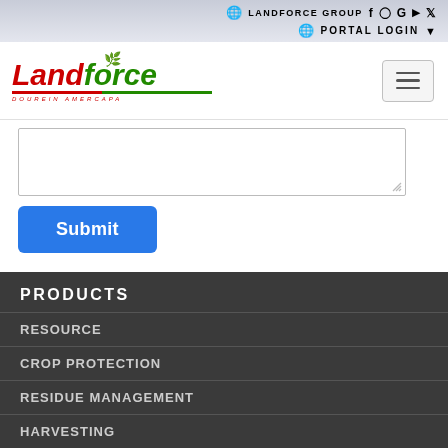LANDFORCE GROUP | PORTAL LOGIN
[Figure (logo): Landforce logo with green and red italic text and leaf icon]
[Figure (screenshot): Text area input box with resize handle]
Submit
PRODUCTS
RESOURCE
CROP PROTECTION
RESIDUE MANAGEMENT
HARVESTING